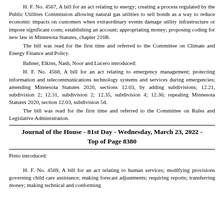H. F. No. 4567, A bill for an act relating to energy; creating a process regulated by the Public Utilities Commission allowing natural gas utilities to sell bonds as a way to reduce economic impacts on customers when extraordinary events damage utility infrastructure or impose significant costs; establishing an account; appropriating money; proposing coding for new law in Minnesota Statutes, chapter 216B.
The bill was read for the first time and referred to the Committee on Climate and Energy Finance and Policy.
Bahner, Elkins, Nash, Noor and Lucero introduced:
H. F. No. 4568, A bill for an act relating to emergency management; protecting information and telecommunications technology systems and services during emergencies; amending Minnesota Statutes 2020, sections 12.03, by adding subdivisions; 12.21, subdivision 2; 12.31, subdivision 2; 12.35, subdivision 4; 12.36; repealing Minnesota Statutes 2020, section 12.03, subdivision 5d.
The bill was read for the first time and referred to the Committee on Rules and Legislative Administration.
Journal of the House - 81st Day - Wednesday, March 23, 2022 - Top of Page 8380
Pinto introduced:
H. F. No. 4569, A bill for an act relating to human services; modifying provisions governing child care assistance; making forecast adjustments; requiring reports; transferring money; making technical and conforming changes; making funded changes to human services programs;